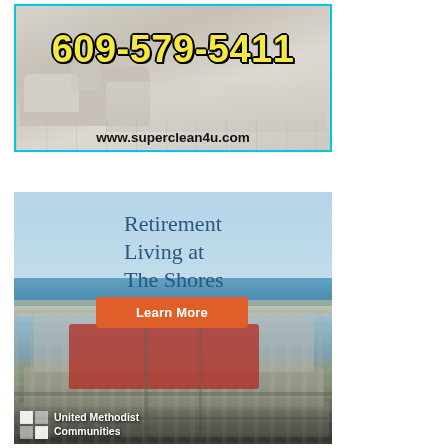[Figure (infographic): Advertisement banner for superclean4u.com showing phone number 609-579-5411 over an interior room photo with a light blue border]
[Figure (infographic): Advertisement for United Methodist Communities retirement living at The Shores, featuring aerial photo of coastal community with red-highlighted building complex, sky blue background with text 'Retirement Living at The Shores' and orange 'Learn More' button]